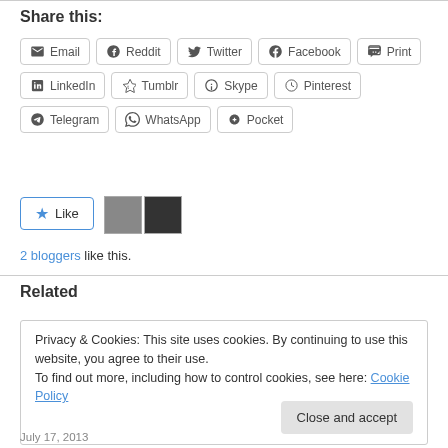Share this:
Email | Reddit | Twitter | Facebook | Print | LinkedIn | Tumblr | Skype | Pinterest | Telegram | WhatsApp | Pocket
[Figure (other): Like button with star icon and two blogger avatars]
2 bloggers like this.
Related
Privacy & Cookies: This site uses cookies. By continuing to use this website, you agree to their use. To find out more, including how to control cookies, see here: Cookie Policy
July 17, 2013